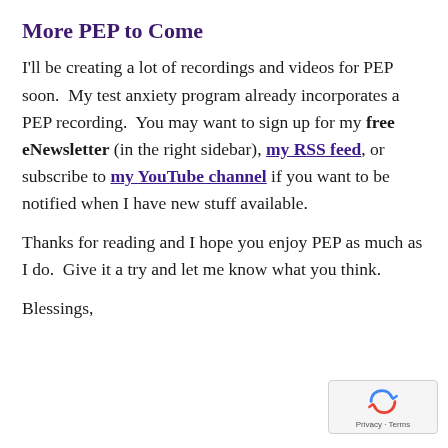More PEP to Come
I'll be creating a lot of recordings and videos for PEP soon.  My test anxiety program already incorporates a PEP recording.  You may want to sign up for my free eNewsletter (in the right sidebar), my RSS feed, or subscribe to my YouTube channel if you want to be notified when I have new stuff available.
Thanks for reading and I hope you enjoy PEP as much as I do.  Give it a try and let me know what you think.
Blessings,